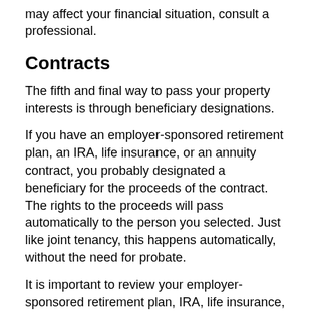may affect your financial situation, consult a professional.
Contracts
The fifth and final way to pass your property interests is through beneficiary designations.
If you have an employer-sponsored retirement plan, an IRA, life insurance, or an annuity contract, you probably designated a beneficiary for the proceeds of the contract. The rights to the proceeds will pass automatically to the person you selected. Just like joint tenancy, this happens automatically, without the need for probate.
It is important to review your employer-sponsored retirement plan, IRA, life insurance, and other contracts to make sure your beneficiary designations reflect your current wishes. Don't wait until it's too late.
Many Considerations
A variety of considerations will determine the distribution methods that are appropriate for you. For example, you